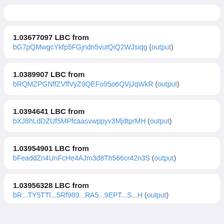1.03677097 LBC from bG7pQMwgcYkfp5FGjndn5vutQiQ2WJsiqg (output)
1.0389907 LBC from bRQMZPGNffZVffVyZ9QEFo95o6QVjJqWkR (output)
1.0394641 LBC from bXJ8hLdDZUf5MPfcaasvwppyv3MjdtprMH (output)
1.03954901 LBC from bFeaddZn4UnFcHe4AJm3d8Th566cr42n3S (output)
1.03956328 LBC from bR...